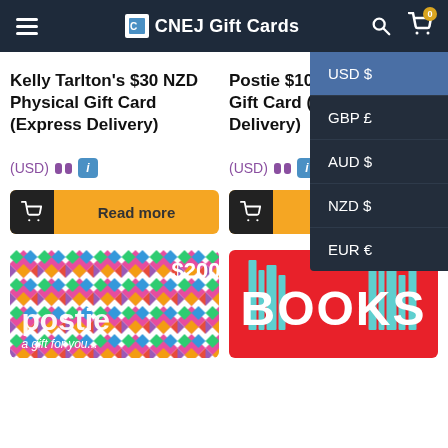CNEJ Gift Cards
Kelly Tarlton's $30 NZD Physical Gift Card (Express Delivery)
(USD)
Read more
Postie $100 NZD Physical Gift Card (Express Delivery)
(USD)
Read more
USD $
GBP £
AUD $
NZD $
EUR €
[Figure (photo): Postie gift card with colourful diamond pattern and $200 label]
[Figure (photo): Books gift card with red background and teal book illustrations]